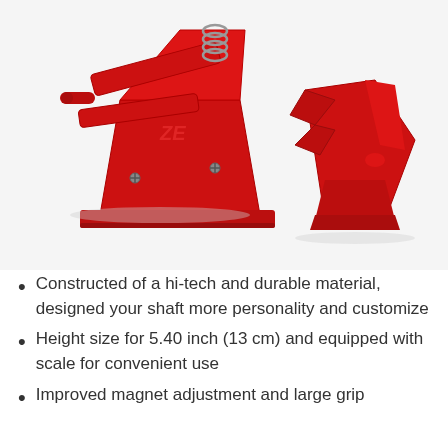[Figure (photo): Two red mechanical clamp/grip devices on a white background. The larger one on the left is an angled clamp tool with a spring mechanism and logo marking. The smaller one on the right is a separate jaw/clip component.]
Constructed of a hi-tech and durable material, designed your shaft more personality and customize
Height size for 5.40 inch (13 cm) and equipped with scale for convenient use
Improved magnet adjustment and large grip